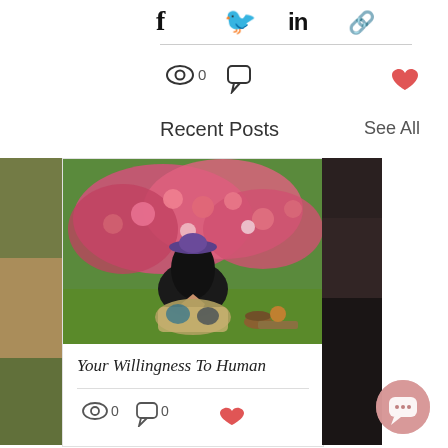[Figure (screenshot): Social media share icons row: Facebook, Twitter, LinkedIn, and a link/copy icon]
[Figure (screenshot): View count icon with 0, comment icon, and a heart/like icon on the right]
Recent Posts
See All
[Figure (photo): Left partial card showing edge of an image with earthy/wood tones]
[Figure (photo): Center card with photo of a woman in a purple hat sitting in meditation pose (namaste hands) on grass in front of pink flowering rose bushes, with a bowl and book on the ground beside her]
Your Willingness To Human
[Figure (screenshot): View count 0, comment count 0, and heart icon for the card]
[Figure (photo): Right partial card showing edge of a dark-toned image]